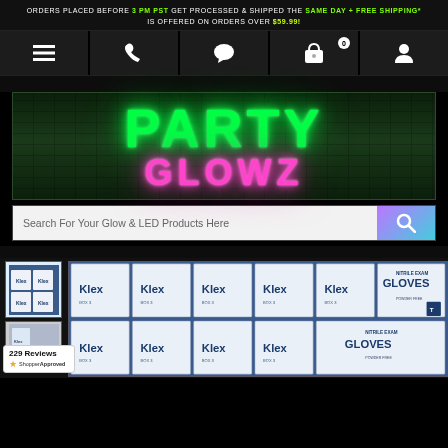ORDERS PLACED BEFORE 3 PM PST GET PROCESSED & SHIPPED THE SAME DAY + FREE SHIPPING* IS OFFERED ON ORDERS OVER $59.99!
[Figure (screenshot): Navigation bar with hamburger menu, phone, chat, shopping cart (0 items), and user account icons on dark background]
[Figure (logo): Party Glowz logo — PARTY in neon green glow, GLOWZ in neon pink/magenta glow on dark brick background]
Search For Your Glow & LED Products Here
[Figure (photo): Product image showing multiple boxes of Klex Nitrile Exam Gloves stacked in two rows of 6, blue/white boxes on blue background. Thumbnail of same product shown to the left. Review badge shows 229 Reviews with ShopperApproved star rating.]